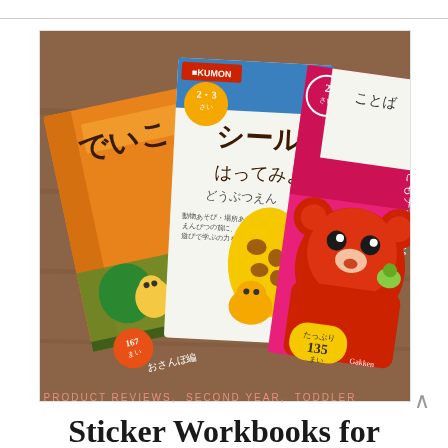[Figure (photo): Three Japanese children's workbooks/sticker books spread on a wooden table. Left: orange Kumon-style workbook with cartoon characters. Center: white Kumon workbook with giraffe sticker theme, age 2-3. Right: pink/red Gakken workbook with cartoon bear, 135 stickers.]
PRODUCT REVIEWS, SECOND YEAR, TODDLER
Sticker Workbooks for